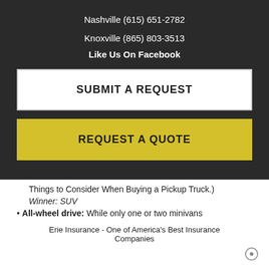Nashville (615) 651-2782
Knoxville (865) 803-3513
Like Us On Facebook
SUBMIT A REQUEST
REQUEST A QUOTE
Things to Consider When Buying a Pickup Truck.)
Winner: SUV
All-wheel drive: While only one or two minivans
Erie Insurance - One of America's Best Insurance Companies